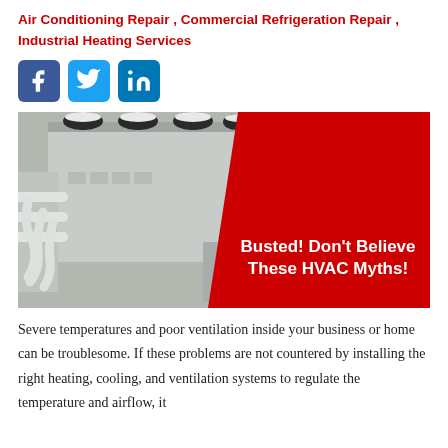Air Conditioning Repair , Commercial Refrigeration Repair , Industrial Heating Services
[Figure (logo): Social media icons: Facebook (blue square with f), Twitter (light blue square with bird), LinkedIn (blue square with in)]
[Figure (photo): Industrial HVAC/refrigeration equipment with white pipes and machinery on a rooftop, overlaid with a red diagonal panel containing the text 'Busted! Don't Believe These HVAC Myths!']
Severe temperatures and poor ventilation inside your business or home can be troublesome. If these problems are not countered by installing the right heating, cooling, and ventilation systems to regulate the temperature and airflow, it